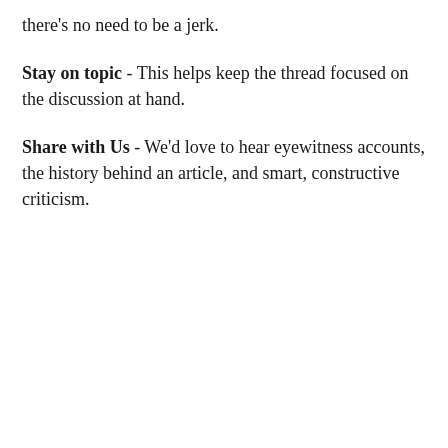there's no need to be a jerk.
Stay on topic - This helps keep the thread focused on the discussion at hand.
Share with Us - We'd love to hear eyewitness accounts, the history behind an article, and smart, constructive criticism.